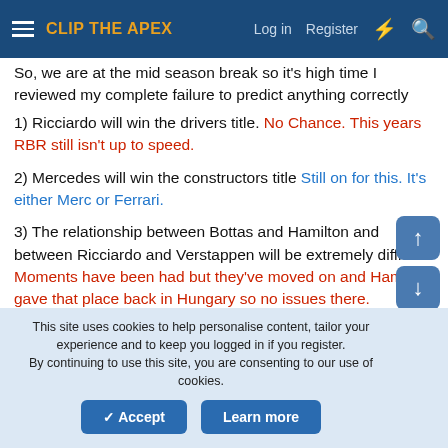CLIP THE APEX | Log in | Register
So, we are at the mid season break so it's high time I reviewed my complete failure to predict anything correctly this season.
1) Ricciardo will win the drivers title. No Chance. This years RBR still isn't up to speed.
2) Mercedes will win the constructors title Still on for this. It's either Merc or Ferrari.
3) The relationship between Bottas and Hamilton and between Ricciardo and Verstappen will be extremely difficult. Moments have been had but they've moved on and Hamilton gave that place back in Hungary so no issues there.
4) Perez will come close to winning a race but will finish second
This site uses cookies to help personalise content, tailor your experience and to keep you logged in if you register. By continuing to use this site, you are consenting to our use of cookies.